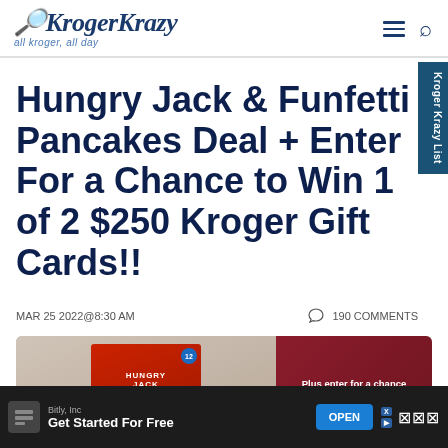Kroger Krazy — all kroger, all day
Hungry Jack & Funfetti Pancakes Deal + Enter For a Chance to Win 1 of 2 $250 Kroger Gift Cards!!
MAR 25 2022 @ 8:30 AM
190 COMMENTS
[Figure (photo): Hungry Jack Pancakes box with stack of pancakes on plate, orange circle price badge, and promotional overlay text 'Plus enter for a chance to win $250']
Bitly, Inc
Get Started For Free